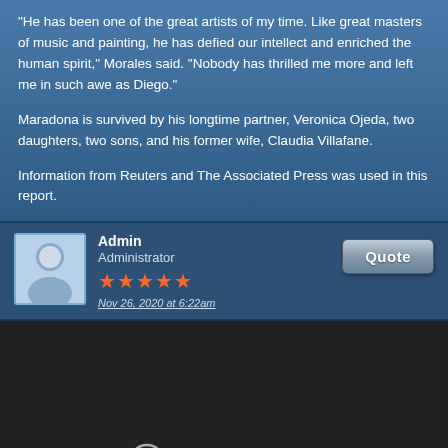"He has been one of the great artists of my time. Like great masters of music and painting, he has defied our intellect and enriched the human spirit," Morales said. "Nobody has thrilled me more and left me in such awe as Diego."
Maradona is survived by his longtime partner, Veronica Ojeda, two daughters, two sons, and his former wife, Claudia Villafane.
Information from Reuters and The Associated Press was used in this report.
Admin
Administrator
★★★★★
Nov 26, 2020 at 6:22am
[Figure (screenshot): A video player showing 'This video is private' message with an exclamation circle icon on a dark background.]